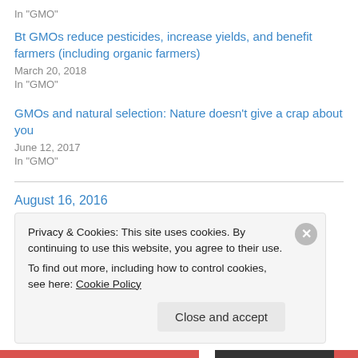In "GMO"
Bt GMOs reduce pesticides, increase yields, and benefit farmers (including organic farmers)
March 20, 2018
In "GMO"
GMOs and natural selection: Nature doesn’t give a crap about you
June 12, 2017
In "GMO"
August 16, 2016
Privacy & Cookies: This site uses cookies. By continuing to use this website, you agree to their use.
To find out more, including how to control cookies, see here: Cookie Policy
Close and accept